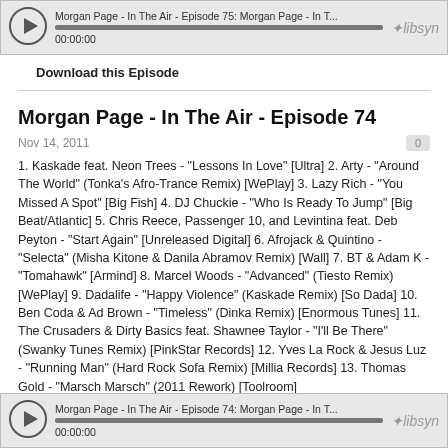[Figure (other): Audio player bar for Morgan Page - In The Air - Episode 75 with play button, progress bar, timestamp 00:00:00, and Libsyn logo]
Download this Episode
Morgan Page - In The Air - Episode 74
Nov 14, 2011
1. Kaskade feat. Neon Trees - "Lessons In Love" [Ultra] 2. Arty - "Around The World" (Tonka's Afro-Trance Remix) [WePlay] 3. Lazy Rich - "You Missed A Spot" [Big Fish] 4. DJ Chuckie - "Who Is Ready To Jump" [Big Beat/Atlantic] 5. Chris Reece, Passenger 10, and Levintina feat. Deb Peyton - "Start Again" [Unreleased Digital] 6. Afrojack & Quintino - "Selecta" (Misha Kitone & Danila Abramov Remix) [Wall] 7. BT & Adam K - "Tomahawk" [Armind] 8. Marcel Woods - "Advanced" (Tiesto Remix) [WePlay] 9. Dadalife - "Happy Violence" (Kaskade Remix) [So Dada] 10. Ben Coda & Ad Brown - "Timeless" (Dinka Remix) [Enormous Tunes] 11. The Crusaders & Dirty Basics feat. Shawnee Taylor - "I'll Be There" (Swanky Tunes Remix) [PinkStar Records] 12. Yves La Rock & Jesus Luz - "Running Man" (Hard Rock Sofa Remix) [Millia Records] 13. Thomas Gold - "Marsch Marsch" (2011 Rework) [Toolroom]
[Figure (other): Audio player bar for Morgan Page - In The Air - Episode 74 with play button, progress bar, timestamp 00:00:00, and Libsyn logo]